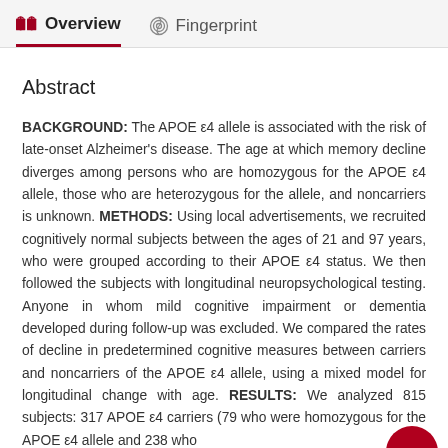Overview   Fingerprint
Abstract
BACKGROUND: The APOE ε4 allele is associated with the risk of late-onset Alzheimer's disease. The age at which memory decline diverges among persons who are homozygous for the APOE ε4 allele, those who are heterozygous for the allele, and noncarriers is unknown. METHODS: Using local advertisements, we recruited cognitively normal subjects between the ages of 21 and 97 years, who were grouped according to their APOE ε4 status. We then followed the subjects with longitudinal neuropsychological testing. Anyone in whom mild cognitive impairment or dementia developed during follow-up was excluded. We compared the rates of decline in predetermined cognitive measures between carriers and noncarriers of the APOE ε4 allele, using a mixed model for longitudinal change with age. RESULTS: We analyzed 815 subjects: 317 APOE ε4 carriers (79 who were homozygous for the APOE ε4 allele and 238 who